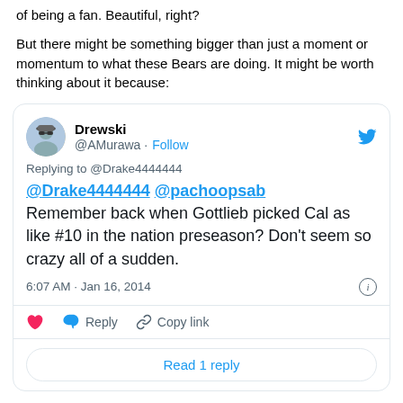of being a fan. Beautiful, right?
But there might be something bigger than just a moment or momentum to what these Bears are doing. It might be worth thinking about it because:
[Figure (screenshot): Embedded tweet from Drewski (@AMurawa) replying to @Drake4444444. Tweet text: '@Drake4444444 @pachoopsab Remember back when Gottlieb picked Cal as like #10 in the nation preseason? Don't seem so crazy all of a sudden.' Posted at 6:07 AM · Jan 16, 2014.]